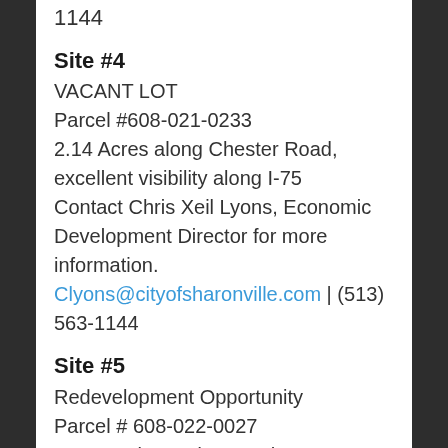1144
Site #4
VACANT LOT
Parcel #608-021-0233
2.14 Acres along Chester Road, excellent visibility along I-75
Contact Chris Xeil Lyons, Economic Development Director for more information.
Clyons@cityofsharonville.com | (513) 563-1144
Site #5
Redevelopment Opportunity
Parcel # 608-022-0027
15 Acres located at Southwest corner of I-75 and I-275